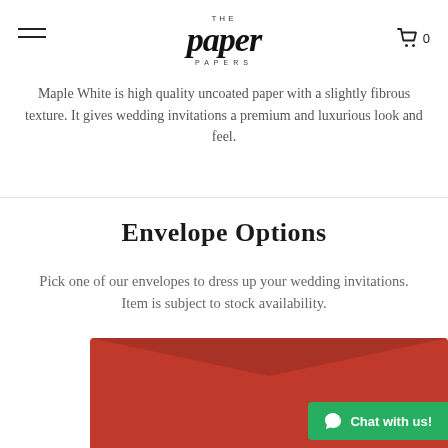[Figure (logo): The Paper Papers logo with hamburger menu on left and cart icon on right]
Maple White is high quality uncoated paper with a slightly fibrous texture. It gives wedding invitations a premium and luxurious look and feel.
Envelope Options
Pick one of our envelopes to dress up your wedding invitations. Item is subject to stock availability.
[Figure (photo): Red envelope partially visible at bottom of page]
Chat with us!